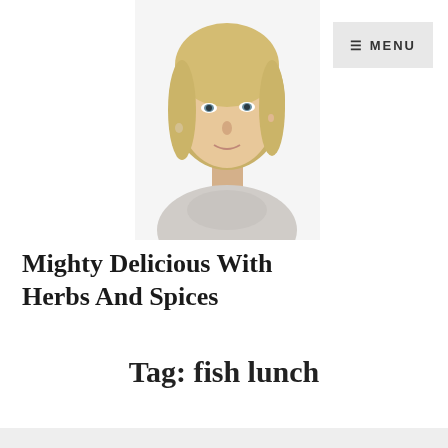[Figure (photo): Portrait photo of a blonde woman, head and shoulders, looking slightly upward, on white background]
Mighty Delicious With Herbs And Spices
Tag: fish lunch